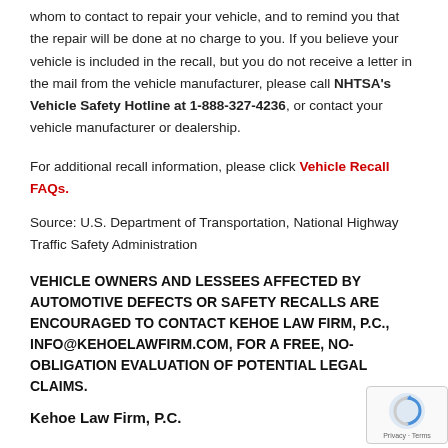whom to contact to repair your vehicle, and to remind you that the repair will be done at no charge to you. If you believe your vehicle is included in the recall, but you do not receive a letter in the mail from the vehicle manufacturer, please call NHTSA's Vehicle Safety Hotline at 1-888-327-4236, or contact your vehicle manufacturer or dealership.
For additional recall information, please click Vehicle Recall FAQs.
Source: U.S. Department of Transportation, National Highway Traffic Safety Administration
VEHICLE OWNERS AND LESSEES AFFECTED BY AUTOMOTIVE DEFECTS OR SAFETY RECALLS ARE ENCOURAGED TO CONTACT KEHOE LAW FIRM, P.C., INFO@KEHOELAWFIRM.COM, FOR A FREE, NO-OBLIGATION EVALUATION OF POTENTIAL LEGAL CLAIMS.
Kehoe Law Firm, P.C.